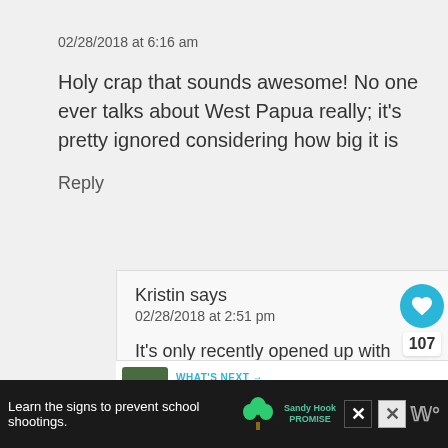jane 2018 says
02/28/2018 at 6:16 am
Holy crap that sounds awesome! No one ever talks about West Papua really; it's pretty ignored considering how big it is
Reply
Kristin says
02/28/2018 at 2:51 pm
It's only recently opened up with needing an extra permit to trave... The locals have been poorly treated but
WHAT'S NEXT → 21 Fantastic Places to...
Learn the signs to prevent school shootings.